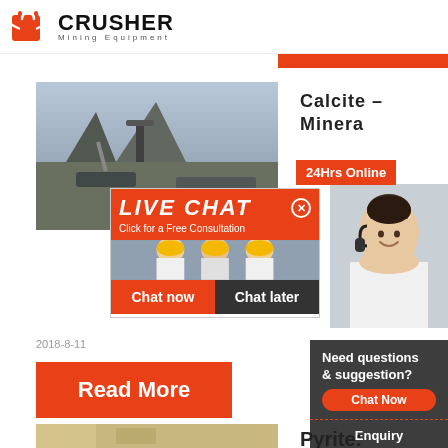[Figure (logo): Crusher Mining Equipment logo with red shopping bag icon]
[Figure (photo): Industrial mining conveyor belt machinery, outdoor scene]
Calcite - Minera
[Figure (infographic): 24Hrs Online badge in red]
[Figure (photo): Live Chat popup with workers in hard hats and customer service representative with headset. Chat now / Chat later buttons.]
2018-8-11
[Figure (infographic): Read More button in orange]
[Figure (infographic): Right sidebar: Need questions & suggestion? Chat Now button, Enquiry, limingjlmofen@sina.com]
[Figure (photo): Bottom left photo, possibly mineral dust or powder]
Pyrite: